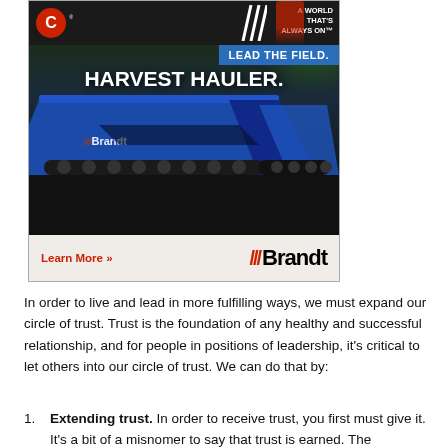[Figure (photo): Advertisement for Brandt Harvest Hauler grain cart. Top shows Cummins logo and 'A WORLD THAT'S ALWAYS ON' tagline. Blue banner reads 'LEAD THE FIELD.' Bold white text 'HARVEST HAULER.' overlays a dark background with a large blue Brandt grain cart on tracks. Footer shows 'Learn More »' in red and the Brandt logo with red triple-stripe mark.]
In order to live and lead in more fulfilling ways, we must expand our circle of trust. Trust is the foundation of any healthy and successful relationship, and for people in positions of leadership, it's critical to let others into our circle of trust. We can do that by:
Extending trust. In order to receive trust, you first must give it. It's a bit of a misnomer to say that trust is earned. The